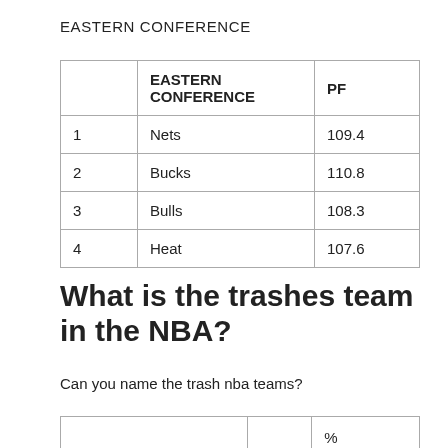EASTERN CONFERENCE
|  | EASTERN CONFERENCE | PF |
| --- | --- | --- |
| 1 | Nets | 109.4 |
| 2 | Bucks | 110.8 |
| 3 | Bulls | 108.3 |
| 4 | Heat | 107.6 |
What is the trashes team in the NBA?
Can you name the trash nba teams?
|  |  | % |
| --- | --- | --- |